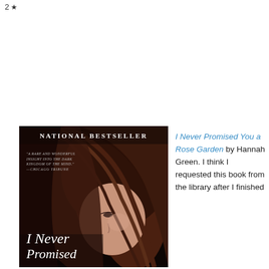2 ★
[Figure (photo): Book cover of 'I Never Promised You a Rose Garden' by Hannah Green. Black background with a woman's face (hair covering most of it), text 'National Bestseller' at top, quote from Chicago Tribune, and book title at bottom in italic serif font.]
I Never Promised You a Rose Garden by Hannah Green. I think I requested this book from the library after I finished